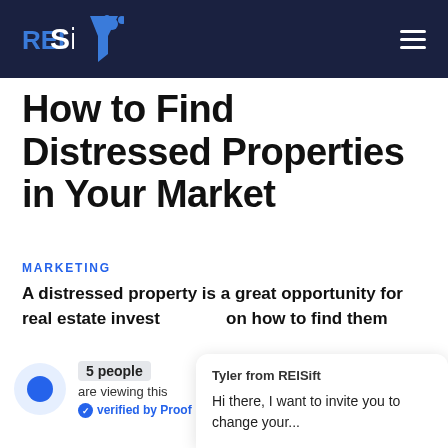REISift
How to Find Distressed Properties in Your Market
MARKETING
A distressed property is a great opportunity for real estate invest... on how to find them
5 people are viewing this • verified by Proof
Tyler from REISift
Hi there, I want to invite you to change your...